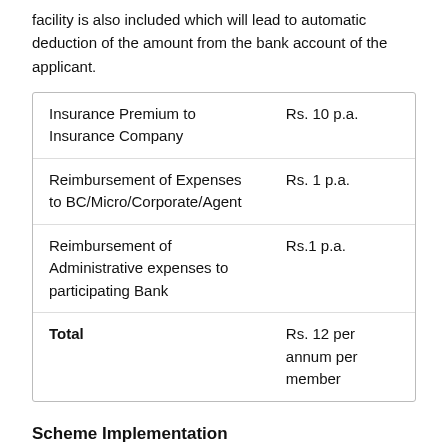facility is also included which will lead to automatic deduction of the amount from the bank account of the applicant.
|  |  |
| --- | --- |
| Insurance Premium to Insurance Company | Rs. 10 p.a. |
| Reimbursement of Expenses to BC/Micro/Corporate/Agent | Rs. 1 p.a. |
| Reimbursement of Administrative expenses to participating Bank | Rs.1 p.a. |
| Total | Rs. 12 per annum per member |
Scheme Implementation